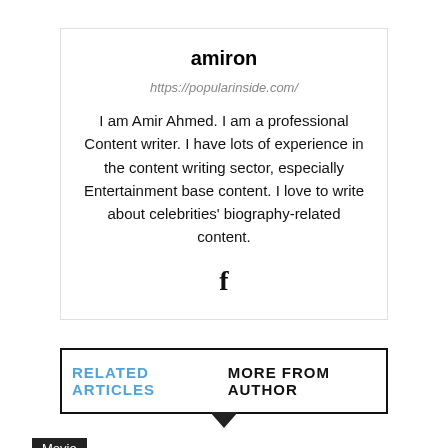amiron
https://popularinside.com/
I am Amir Ahmed. I am a professional Content writer. I have lots of experience in the content writing sector, especially Entertainment base content. I love to write about celebrities' biography-related content.
[Figure (illustration): Facebook icon (letter f)]
RELATED ARTICLES   MORE FROM AUTHOR
Movie
Yuta Nakatsuka Age, Net Worth,
[Figure (photo): Advertisement banner: Just $2 can protect 1 acre of irreplaceable forest homes in the Amazon. How many acres are you willing to protect? PROTECT FORESTS NOW]